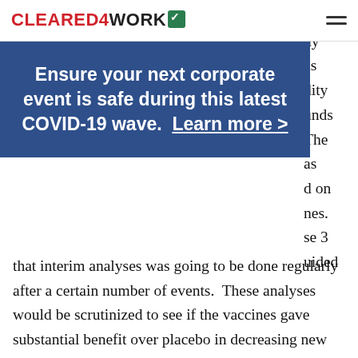CLEARED4WORK
[Figure (screenshot): Cleared4Work website header with red and black logo, teal checkmark icon, and hamburger menu icon]
Ensure your next corporate event is safe during this latest COVID-19 wave. Learn more >
would
ny
as
dity
unds
The
as
d on
nes.
se 3
uided
that interim analyses was going to be done regularly after a certain number of events.  These analyses would be scrutinized to see if the vaccines gave substantial benefit over placebo in decreasing new Covid-19 cases.  If the vaccine showed substantive benefit, the trial could even be stopped and the